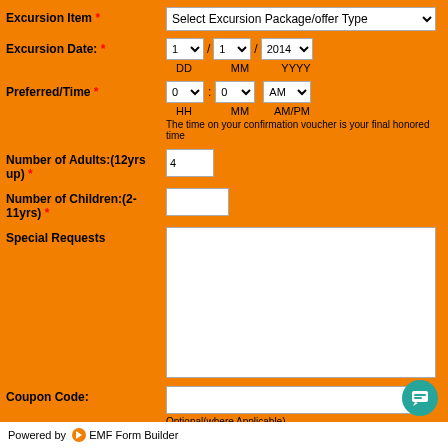Excursion Item *
Select Excursion Package/offer Type
Excursion Date: *
DD / MM / YYYY — dropdowns: 1, 1, 2014
Preferred/Time *
HH : MM AM/PM — dropdowns: 0, 0, AM
The time on your confirmation voucher is your final honored time
Number of Adults:(12yrs up) * — value: 4
Number of Children:(2-11yrs) *
Special Requests
Coupon Code:
Optional(where Applicable)
Submit Reservation Request
Powered by  EMF Form Builder